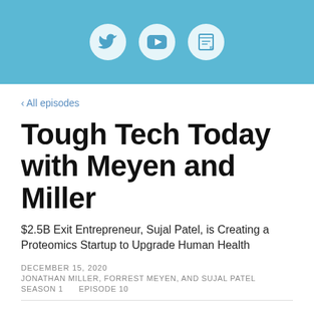[Figure (illustration): Light blue header bar with three white circular icons: Twitter bird icon, YouTube play button icon, and a Readwise/bookmark icon]
‹ All episodes
Tough Tech Today with Meyen and Miller
$2.5B Exit Entrepreneur, Sujal Patel, is Creating a Proteomics Startup to Upgrade Human Health
DECEMBER 15, 2020
JONATHAN MILLER, FORREST MEYEN, AND SUJAL PATEL
SEASON 1      EPISODE 10